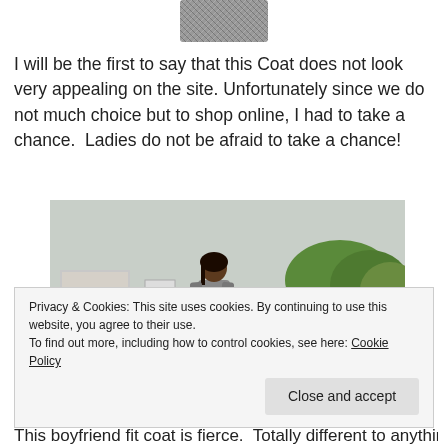[Figure (photo): Partial top view of a grey plaid/checkered coat from an online shopping site]
I will be the first to say that this Coat does not look very appealing on the site. Unfortunately since we do not much choice but to shop online, I had to take a chance.  Ladies do not be afraid to take a chance!
[Figure (photo): A woman wearing a long grey boyfriend coat, pink top, blue jeans, carrying a brown bag and a black hat, walking on a road with green grass and trees in the background.]
Privacy & Cookies: This site uses cookies. By continuing to use this website, you agree to their use.
To find out more, including how to control cookies, see here: Cookie Policy
This boyfriend fit coat is fierce.  Totally different to anything in